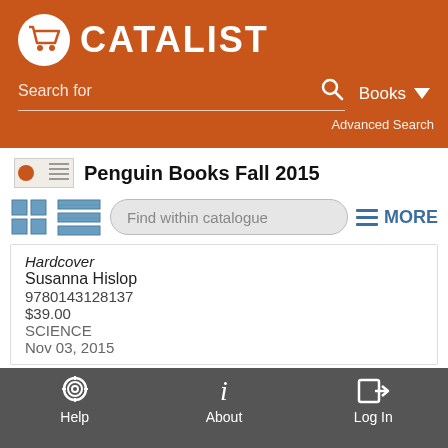CATALIST
Search for | Books | Advanced Search
Penguin Books Fall 2015
Find within catalogue | MORE
Hardcover
Susanna Hislop
9780143128137
$39.00
SCIENCE
Nov 03, 2015
27.
28.
Help | About | Log In